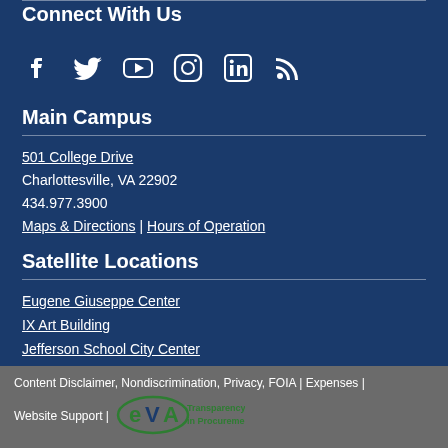Connect With Us
[Figure (illustration): Social media icons: Facebook, Twitter, YouTube, Instagram, LinkedIn, RSS]
Main Campus
501 College Drive
Charlottesville, VA 22902
434.977.3900
Maps & Directions | Hours of Operation
Satellite Locations
Eugene Giuseppe Center
IX Art Building
Jefferson School City Center
Content Disclaimer, Nondiscrimination, Privacy, FOIA | Expenses | Website Support | eVA Transparency in Procurement